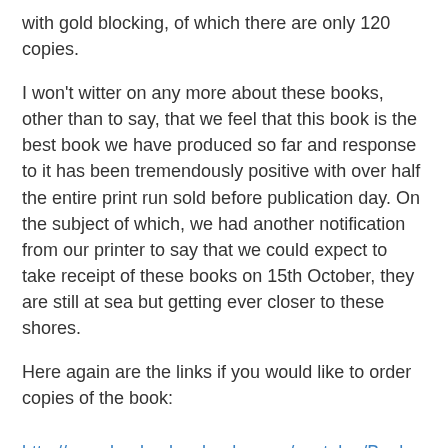with gold blocking, of which there are only 120 copies.
I won't witter on any more about these books, other than to say, that we feel that this book is the best book we have produced so far and response to it has been tremendously positive with over half the entire print run sold before publication day. On the subject of which, we had another notification from our printer to say that we could expect to take receipt of these books on 15th October, they are still at sea but getting ever closer to these shores.
Here again are the links if you would like to order copies of the book:
http://www.bookpalacebooks.com/acatalog/Book_Palace_Books_Frank_Bellamy_s_Heros_the_Spartan_The_Complete_Adventures_154.html
More pictures can be seen on the Marvel Masterworks Fan Site: